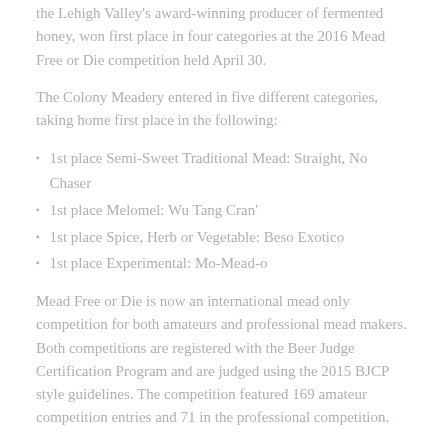the Lehigh Valley's award-winning producer of fermented honey, won first place in four categories at the 2016 Mead Free or Die competition held April 30.
The Colony Meadery entered in five different categories, taking home first place in the following:
1st place Semi-Sweet Traditional Mead: Straight, No Chaser
1st place Melomel: Wu Tang Cran'
1st place Spice, Herb or Vegetable: Beso Exotico
1st place Experimental: Mo-Mead-o
Mead Free or Die is now an international mead only competition for both amateurs and professional mead makers. Both competitions are registered with the Beer Judge Certification Program and are judged using the 2015 BJCP style guidelines. The competition featured 169 amateur competition entries and 71 in the professional competition.
“The competition at Mead Free or Die is some of the best anywhere,”